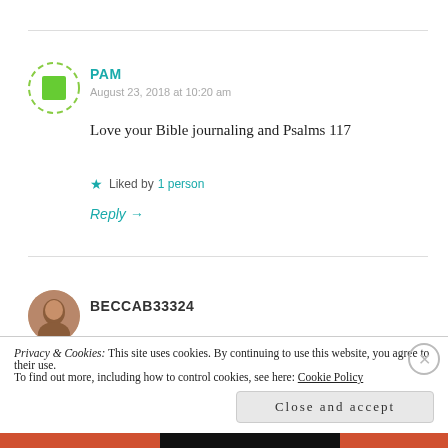PAM
August 23, 2018 at 10:20 am
Love your Bible journaling and Psalms 117
Liked by 1 person
Reply →
BECCAB33324
Privacy & Cookies: This site uses cookies. By continuing to use this website, you agree to their use. To find out more, including how to control cookies, see here: Cookie Policy
Close and accept